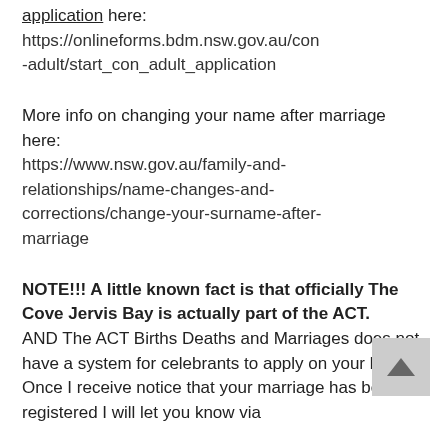application here: https://onlineforms.bdm.nsw.gov.au/con-adult/start_con_adult_application
More info on changing your name after marriage here: https://www.nsw.gov.au/family-and-relationships/name-changes-and-corrections/change-your-surname-after-marriage
NOTE!!! A little known fact is that officially The Cove Jervis Bay is actually part of the ACT. AND The ACT Births Deaths and Marriages does not have a system for celebrants to apply on your behalf. Once I receive notice that your marriage has been registered I will let you know via